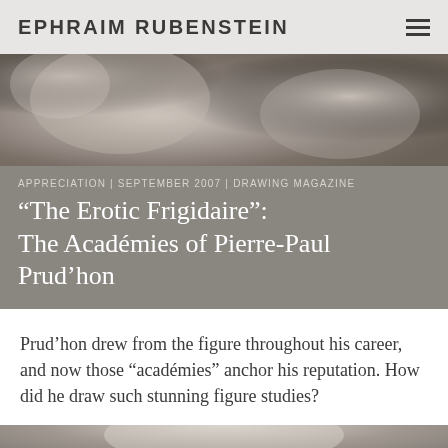EPHRAIM RUBENSTEIN
[Figure (photo): Close-up detail of a figure drawing or painting, showing skin tones and textural details in muted, sepia-like tones]
APPRECIATION | SEPTEMBER 2007 | DRAWING MAGAZINE
“The Erotic Frigidaire”: The Académies of Pierre-Paul Prud’hon
Prud’hon drew from the figure throughout his career, and now those "académies" anchor his reputation. How did he draw such stunning figure studies?
[Figure (photo): Partial view of another figure drawing detail, showing light tones against a dark background, cropped at bottom of page]